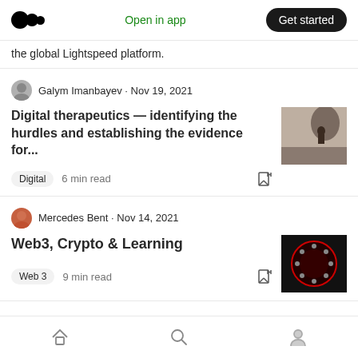Medium logo | Open in app | Get started
the global Lightspeed platform.
Galym Imanbayev · Nov 19, 2021
Digital therapeutics — identifying the hurdles and establishing the evidence for...
Digital  6 min read
Mercedes Bent · Nov 14, 2021
Web3, Crypto & Learning
Web 3  9 min read
Home | Search | Profile